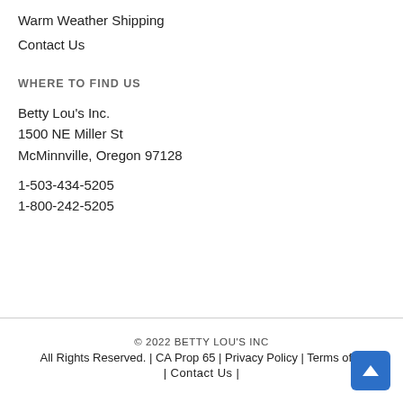Warm Weather Shipping
Contact Us
WHERE TO FIND US
Betty Lou's Inc.
1500 NE Miller St
McMinnville, Oregon 97128
1-503-434-5205
1-800-242-5205
© 2022 BETTY LOU'S INC
All Rights Reserved. | CA Prop 65 | Privacy Policy | Terms of S | Contact Us |